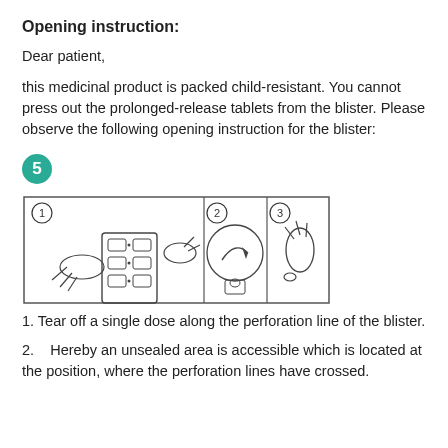Opening instruction:
Dear patient,
this medicinal product is packed child-resistant. You cannot press out the prolonged-release tablets from the blister. Please observe the following opening instruction for the blister:
[Figure (infographic): Step 5 badge (teal circle with number 5) followed by three numbered illustration panels showing how to open a child-resistant blister pack: (1) tearing off a single dose along perforation, (2) peeling back the foil at the unsealed area, (3) pushing the tablet out.]
1. Tear off a single dose along the perforation line of the blister.
2.    Hereby an unsealed area is accessible which is located at the position, where the perforation lines have crossed.